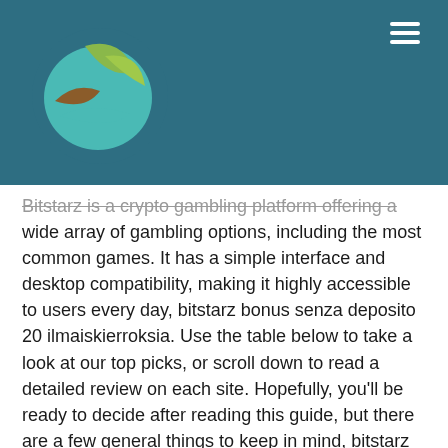[Figure (logo): Circular logo with green leaf and brown bird/wave shapes on a teal/dark blue background header bar]
Bitstarz is a crypto gambling platform offering a wide array of gambling options, including the most common games. It has a simple interface and desktop compatibility, making it highly accessible to users every day, bitstarz bonus senza deposito 20 ilmaiskierroksia. Use the table below to take a look at our top picks, or scroll down to read a detailed review on each site. Hopefully, you'll be ready to decide after reading this guide, but there are a few general things to keep in mind, bitstarz bonus code facebook. If you change the commission, the speed of the executed transaction also changes, bitstarz bonus code zatočeni zdarma. The lower the amount, the longer you will have to wait. Currencies